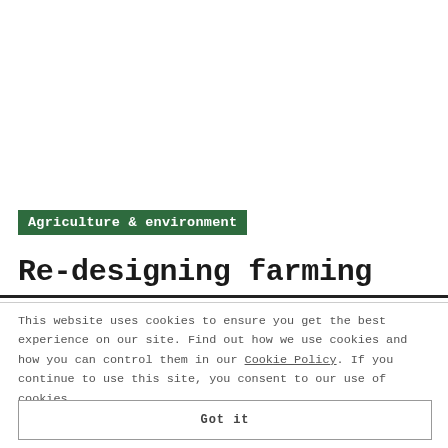Agriculture & environment
Re-designing farming
This website uses cookies to ensure you get the best experience on our site. Find out how we use cookies and how you can control them in our Cookie Policy. If you continue to use this site, you consent to our use of cookies.
Got it